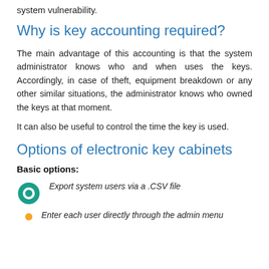system vulnerability.
Why is key accounting required?
The main advantage of this accounting is that the system administrator knows who and when uses the keys. Accordingly, in case of theft, equipment breakdown or any other similar situations, the administrator knows who owned the keys at that moment.
It can also be useful to control the time the key is used.
Options of electronic key cabinets
Basic options:
Export system users via a .CSV file
Enter each user directly through the admin menu